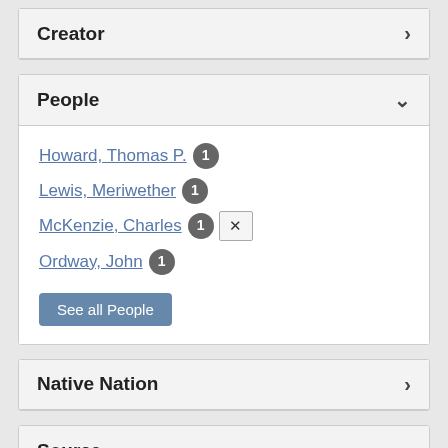Creator
People
Howard, Thomas P. 1
Lewis, Meriwether 1
McKenzie, Charles 1 [x]
Ordway, John 1
See all People
Native Nation
Source
The Journals of the Lewis and Clark Expedition